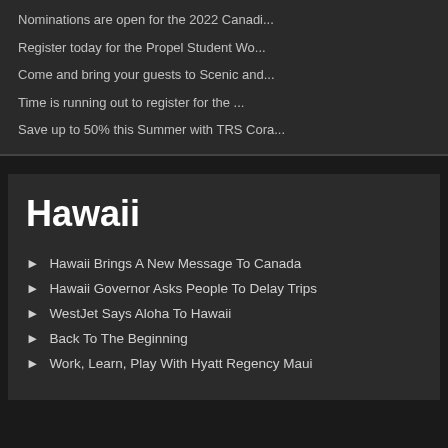Nominations are open for the 2022 Canadi...
Register today for the Propel Student Wo...
Come and bring your guests to Scenic and...
Time is running out to register for the ...
Save up to 50% this Summer with TRS Cora...
Hawaii
Hawaii Brings A New Message To Canada
Hawaii Governor Asks People To Delay Trips
WestJet Says Aloha To Hawaii
Back To The Beginning
Work, Learn, Play With Hyatt Regency Maui